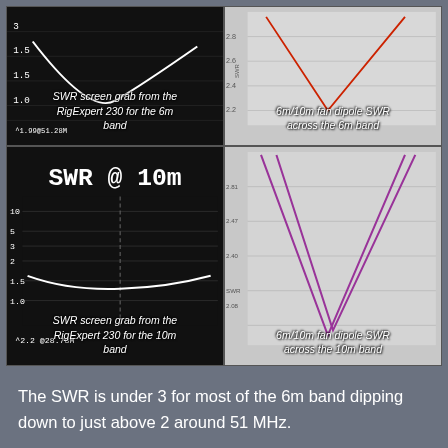[Figure (screenshot): RigExpert 230 SWR screen grab for the 6m band showing SWR curve around 1.99 at 51.28 MHz, dark background with white curve]
[Figure (continuous-plot): 6m/10m fan dipole SWR across the 6m band, light gray background with red SWR curve forming a V shape]
[Figure (screenshot): RigExpert 230 SWR screen grab for the 10m band showing SWR @ 10m title, SWR readings 2.2 at 28.78 MHz, dark background with white curve at 1.5 level]
[Figure (continuous-plot): 6m/10m fan dipole SWR across the 10m band, light gray background with purple/magenta SWR curves forming a V shape]
The SWR is under 3 for most of the 6m band dipping down to just above 2 around 51 MHz.